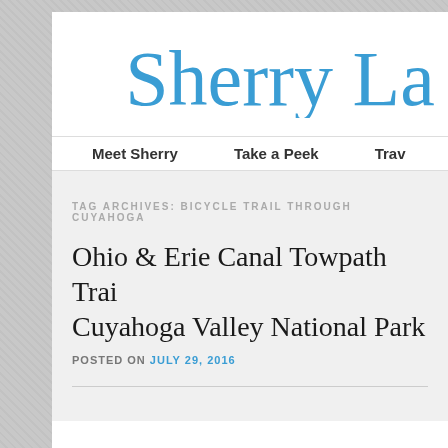Sherry La
Meet Sherry   Take a Peek   Trav
TAG ARCHIVES: BICYCLE TRAIL THROUGH CUYAHOGA
Ohio & Erie Canal Towpath Trail Cuyahoga Valley National Park
POSTED ON JULY 29, 2016